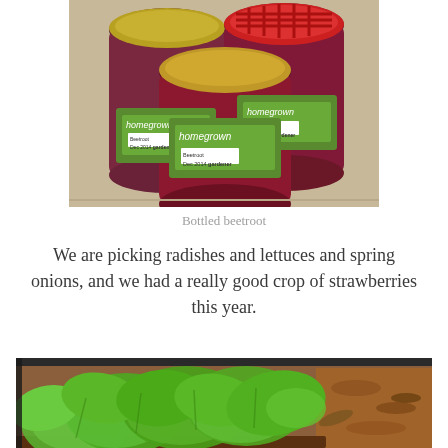[Figure (photo): Three glass jars of bottled beetroot with homegrown gardener labels, dated Dec 2014, sitting on a surface.]
Bottled beetroot
We are picking radishes and lettuces and spring onions, and we had a really good crop of strawberries this year.
[Figure (photo): Green leafy lettuce or salad seedlings growing in a raised garden bed or wooden planter box, with wood chip mulch visible.]